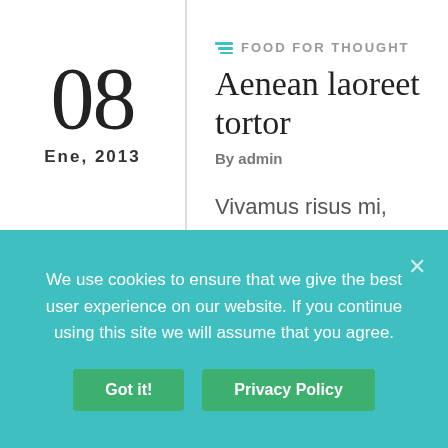08
Ene, 2013
FOOD FOR THOUGHT
Aenean laoreet tortor
By admin
Vivamus risus mi, lobortis ut congue vitae, vestibulum vitae augue. Maecenas nunc odio, pulvinar id vulputate nec, porttitor at quam. Suspendisse vulputate diam eu leo bibendum feugiat. Lorem ipsum dolor sit amet, consectetur adipiscing elit,
We use cookies to ensure that we give the best user experience on our website. If you continue using this site we will assume that you agree.
Got it!
Privacy Policy